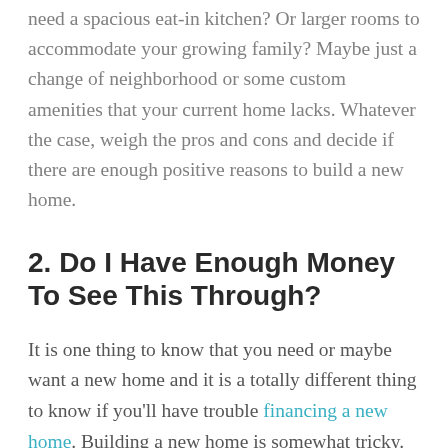need a spacious eat-in kitchen? Or larger rooms to accommodate your growing family? Maybe just a change of neighborhood or some custom amenities that your current home lacks. Whatever the case, weigh the pros and cons and decide if there are enough positive reasons to build a new home.
2.  Do I Have Enough Money To See This Through?
It is one thing to know that you need or maybe want a new home and it is a totally different thing to know if you'll have trouble financing a new home. Building a new home is somewhat tricky. Prices of building materials could go up during the building process so make sure you have some wiggle room in your budget. It is crucial to take unforeseen expenses into account before proceeding with your plans. This way, you are sure to see the project through come what may.